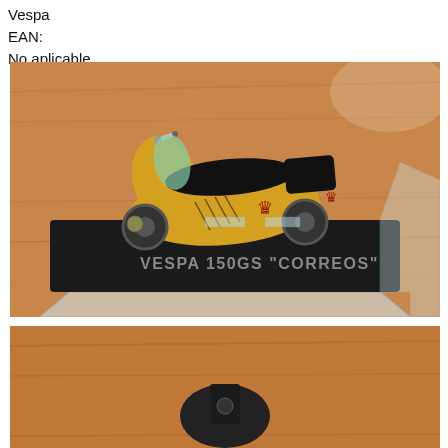Vespa
EAN:
No aplicable
[Figure (photo): A yellow Vespa 150GS 'CORREOS' scale model scooter displayed on a black platform with a clear acrylic base, sitting on a wooden surface. The platform has text reading VESPA 150GS "CORREOS".]
[Figure (photo): Partial view of another item on a wooden surface, bottom of the page.]